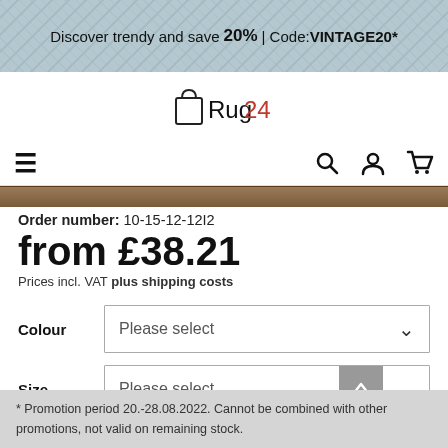Discover trendy and save 20% | Code: VINTAGE20*
[Figure (logo): Rug24 logo with shopping bag icon outline]
Order number: 10-15-12-12I2
from £38.21
Prices incl. VAT plus shipping costs
Colour — Please select
Size — Please select
* Promotion period 20.-28.08.2022. Cannot be combined with other promotions, not valid on remaining stock.